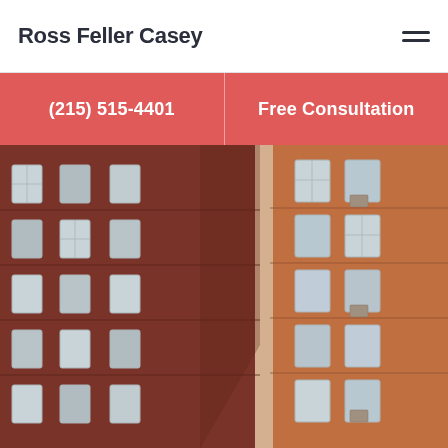Ross Feller Casey
(215) 515-4401
Free Consultation
[Figure (photo): Close-up facade of a multi-story brick apartment building with rows of windows]